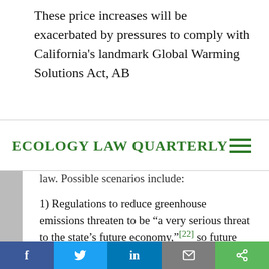These price increases will be exacerbated by pressures to comply with California's landmark Global Warming Solutions Act, AB
Ecology Law Quarterly
law. Possible scenarios include:
1) Regulations to reduce greenhouse emissions threaten to be “a very serious threat to the state’s future economy,”[22] so future politicians decide to delay the reduction mandate or to simply rescind it allowing greenhouse gas emissions to grow.
Facebook | Twitter | LinkedIn | Email | Share